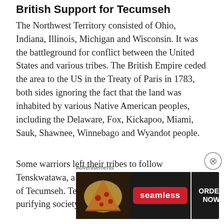British Support for Tecumseh
The Northwest Territory consisted of Ohio, Indiana, Illinois, Michigan and Wisconsin. It was the battleground for conflict between the United States and various tribes. The British Empire ceded the area to the US in the Treaty of Paris in 1783, both sides ignoring the fact that the land was inhabited by various Native American peoples, including the Delaware, Fox, Kickapoo, Miami, Sauk, Shawnee, Winnebago and Wyandot people.
Some warriors left their tribes to follow Tenskwatawa, a Shawnee prophet and the brother of Tecumseh. Tenskwatawa had a vision of purifying society by expelling the American
Advertisements
[Figure (other): Seamless food delivery advertisement banner with pizza image on left, Seamless logo in red pill center, and ORDER NOW button on right against dark background]